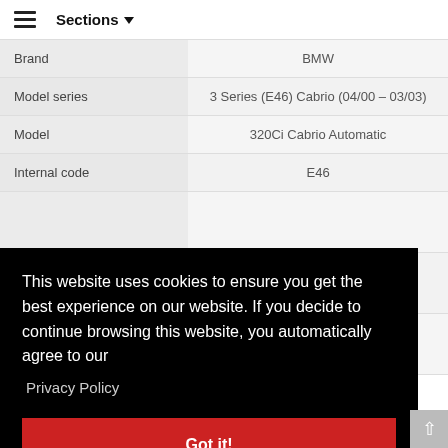Sections
|  |  |
| --- | --- |
| Brand | BMW |
| Model series | 3 Series (E46) Cabrio (04/00 – 03/03) |
| Model | 320Ci Cabrio Automatic |
| Internal code | E46 |
This website uses cookies to ensure you get the best experience on our website. If you decide to continue browsing this website, you automatically agree to our
Privacy Policy
Got it!